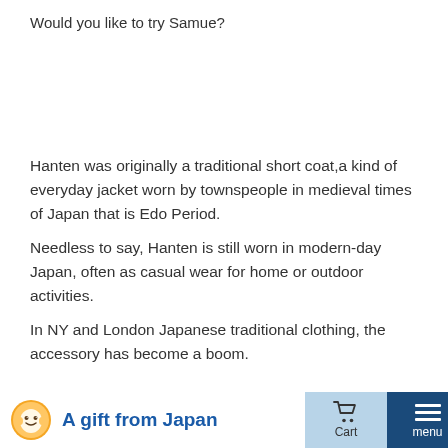Would you like to try Samue?
Hanten was originally a traditional short coat,a kind of everyday jacket worn by townspeople in medieval times of Japan that is Edo Period.
Needless to say, Hanten is still worn in modern-day Japan, often as casual wear for home or outdoor activities.
In NY and London Japanese traditional clothing, the accessory has become a boom.
Cotton shantung   Made in Japan
A gift from Japan | Cart | menu